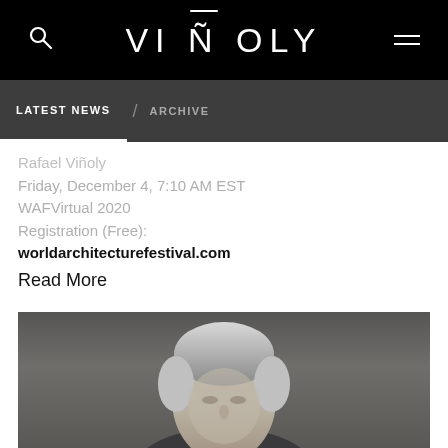VIÑOLY
LATEST NEWS / ARCHIVE
Rafael Viñoly
Friday, December 4, 7:10 AM EST
WAFVirtual 2020
Registration (Free):
worldarchitecturefestival.com
Read More
[Figure (photo): Portrait photograph of Rafael Viñoly, elderly man with silver/grey hair, against a grey background]